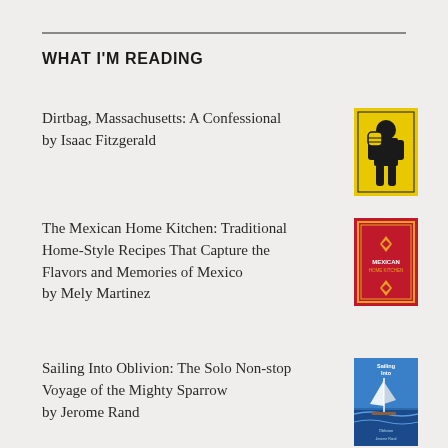WHAT I'M READING
Dirtbag, Massachusetts: A Confessional by Isaac Fitzgerald
The Mexican Home Kitchen: Traditional Home-Style Recipes That Capture the Flavors and Memories of Mexico by Mely Martinez
Sailing Into Oblivion: The Solo Non-stop Voyage of the Mighty Sparrow by Jerome Rand